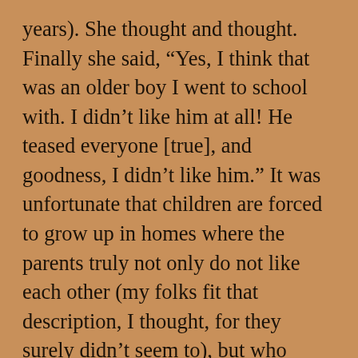years). She thought and thought. Finally she said, “Yes, I think that was an older boy I went to school with. I didn’t like him at all! He teased everyone [true], and goodness, I didn’t like him.” It was unfortunate that children are forced to grow up in homes where the parents truly not only do not like each other (my folks fit that description, I thought, for they surely didn’t seem to), but who won’t seek help to keep the fighting down. It would probably have been easier on all of us if they had separated, as no one wanted to be around them as a couple, but that generation stuck through everything from abuse to incest–thankfully my parents did neither of those. But families who were happy were rare.
Dysfunctional families, they call it now. Back